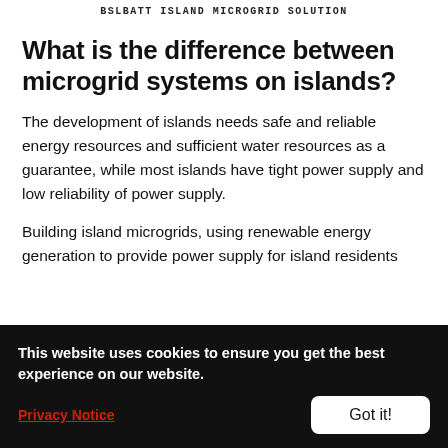BSLBATT ISLAND MICROGRID SOLUTION
What is the difference between microgrid systems on islands?
The development of islands needs safe and reliable energy resources and sufficient water resources as a guarantee, while most islands have tight power supply and low reliability of power supply.
Building island microgrids, using renewable energy generation to provide power supply for island residents
This website uses cookies to ensure you get the best experience on our website.
Privacy Notice
Got it!